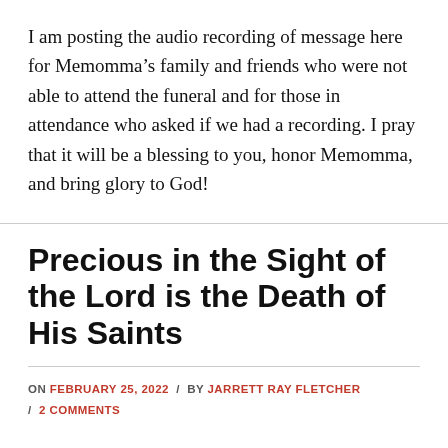I am posting the audio recording of message here for Memomma's family and friends who were not able to attend the funeral and for those in attendance who asked if we had a recording. I pray that it will be a blessing to you, honor Memomma, and bring glory to God!
Precious in the Sight of the Lord is the Death of His Saints
ON FEBRUARY 25, 2022 / BY JARRETT RAY FLETCHER / 2 COMMENTS